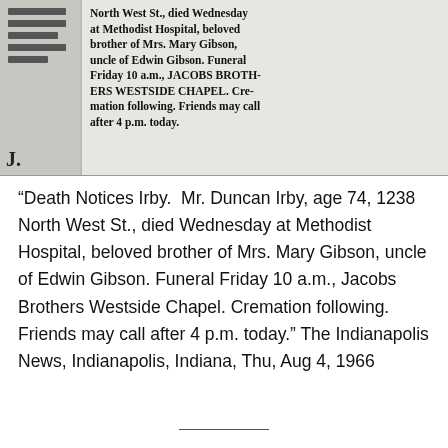[Figure (photo): Scanned newspaper clipping showing a death notice for Mr. Duncan Irby. The clipping is in bold serif newspaper font. Text reads: 'North West St., died Wednesday at Methodist Hospital, beloved brother of Mrs. Mary Gibson, uncle of Edwin Gibson. Funeral Friday 10 a.m., JACOBS BROTHERS WESTSIDE CHAPEL. Cremation following. Friends may call after 4 p.m. today.' A bold letter 'J.' appears at the lower left of the clipping.]
“Death Notices Irby.  Mr. Duncan Irby, age 74, 1238 North West St., died Wednesday at Methodist Hospital, beloved brother of Mrs. Mary Gibson, uncle of Edwin Gibson. Funeral Friday 10 a.m., Jacobs Brothers Westside Chapel. Cremation following. Friends may call after 4 p.m. today.” The Indianapolis News, Indianapolis, Indiana, Thu, Aug 4, 1966